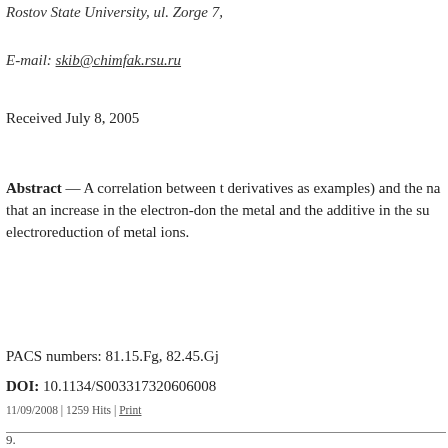Rostov State University, ul. Zorge 7,
E-mail: skib@chimfak.rsu.ru
Received July 8, 2005
Abstract — A correlation between (using thiourea derivatives as examples) and the na... that an increase in the electron-don... the metal and the additive in the su... electroreduction of metal ions.
PACS numbers: 81.15.Fg, 82.45.Gj
DOI: 10.1134/S003317320606008
11/09/2008 | 1259 Hits | Print
9.
Inhibitor of Hydrogen Sulfide
G. I. Akhmadeeva and R. N. Zagi